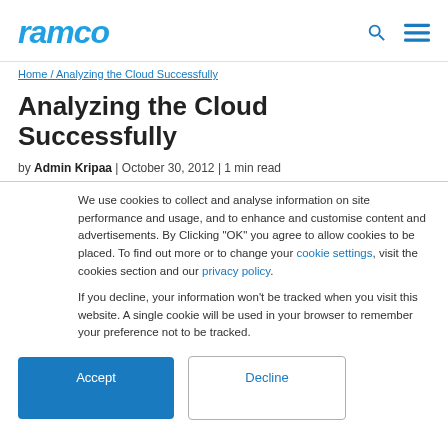ramco
Home / Analyzing the Cloud Successfully
Analyzing the Cloud Successfully
by Admin Kripaa | October 30, 2012 | 1 min read
We use cookies to collect and analyse information on site performance and usage, and to enhance and customise content and advertisements. By Clicking "OK" you agree to allow cookies to be placed. To find out more or to change your cookie settings, visit the cookies section and our privacy policy.
If you decline, your information won’t be tracked when you visit this website. A single cookie will be used in your browser to remember your preference not to be tracked.
Accept
Decline